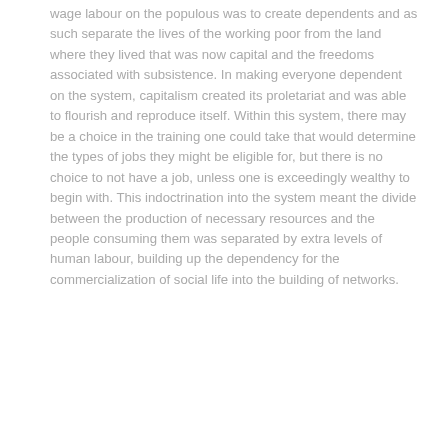wage labour on the populous was to create dependents and as such separate the lives of the working poor from the land where they lived that was now capital and the freedoms associated with subsistence. In making everyone dependent on the system, capitalism created its proletariat and was able to flourish and reproduce itself. Within this system, there may be a choice in the training one could take that would determine the types of jobs they might be eligible for, but there is no choice to not have a job, unless one is exceedingly wealthy to begin with. This indoctrination into the system meant the divide between the production of necessary resources and the people consuming them was separated by extra levels of human labour, building up the dependency for the commercialization of social life into the building of networks.